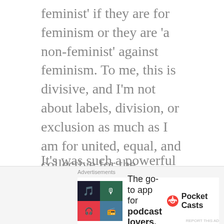feminist' if they are for feminism or they are 'a non-feminist' against feminism. To me, this is divisive, and I'm not about labels, division, or exclusion as much as I am for united, equal, and collective for the common good of all civilization.
It's was such a powerful and resurfaced word that Feminism was Merriam-Webster's Word of the Year for 2017.
Feminism, by definition, is equality of both
Advertisements
The go-to app for podcast lovers.
[Figure (logo): Pocket Casts logo and app advertisement banner]